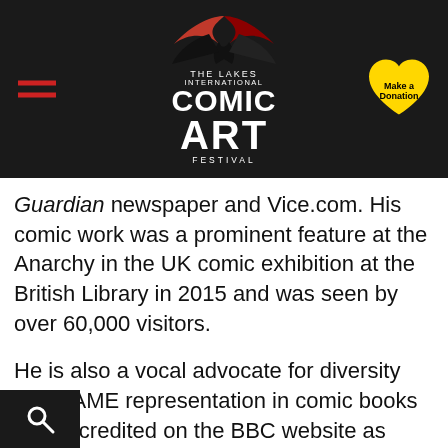[Figure (logo): The Lakes International Comic Art Festival logo with hamburger menu and Make a Donation heart button on a dark header bar]
Guardian newspaper and Vice.com. His comic work was a prominent feature at the Anarchy in the UK comic exhibition at the British Library in 2015 and was seen by over 60,000 visitors.
He is also a vocal advocate for diversity and BAME representation in comic books and is credited on the BBC website as instrumental in featuring some of the “first comics by black creators featuring black characters.”
For this podcast, Bobby chats about his history and how it got into creating comics, well as the future of Scotland Yardie,